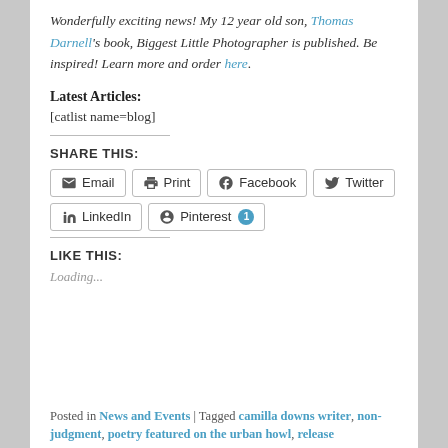Wonderfully exciting news! My 12 year old son, Thomas Darnell's book, Biggest Little Photographer is published. Be inspired! Learn more and order here.
Latest Articles:
[catlist name=blog]
SHARE THIS:
Email | Print | Facebook | Twitter | LinkedIn | Pinterest 1
LIKE THIS:
Loading...
Posted in News and Events | Tagged camilla downs writer, non-judgment, poetry featured on the urban howl, release